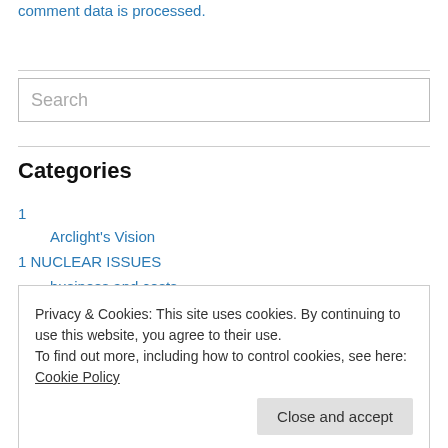comment data is processed.
Search
Categories
1
Arclight's Vision
1 NUCLEAR ISSUES
business and costs
Privacy & Cookies: This site uses cookies. By continuing to use this website, you agree to their use.
To find out more, including how to control cookies, see here: Cookie Policy
Close and accept
renewable